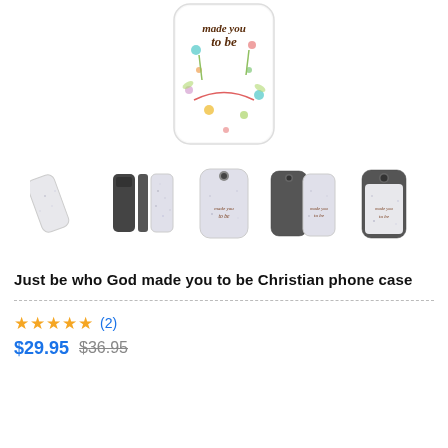[Figure (photo): Product main image: a phone case with floral design and text 'made you to be' in cursive, shown from front angle.]
[Figure (photo): Row of 5 product thumbnail images showing the glitter phone case from various angles including side, back, and front views on different phone models.]
Just be who God made you to be Christian phone case
★★★★★ (2)
$29.95 $36.95